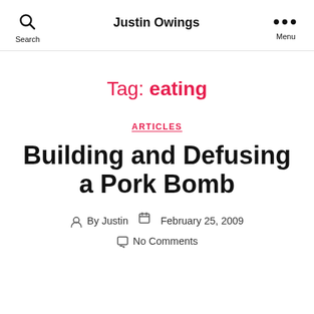Justin Owings
Tag: eating
ARTICLES
Building and Defusing a Pork Bomb
By Justin   February 25, 2009   No Comments